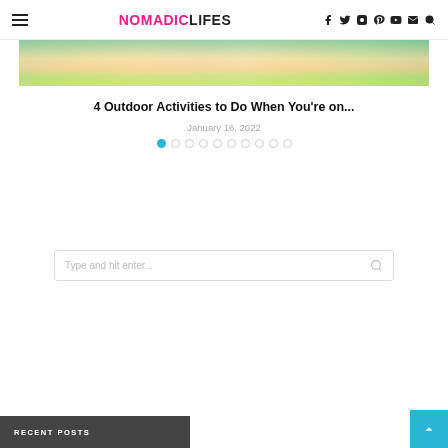NOMADICLIFES — navigation header with hamburger menu and social icons
[Figure (photo): Partial view of a beach scene with palm trees and people relaxing, shown as a horizontal strip at the top of the article card]
4 Outdoor Activities to Do When You're on...
January 16, 2022
Dot pagination indicators (10 dots, first active)
Type and hit enter... [search box]
RECENT POSTS